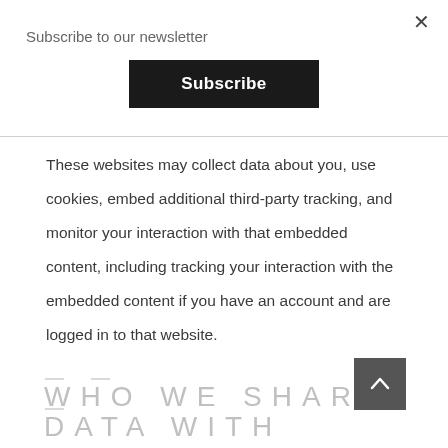Subscribe to our newsletter
Subscribe
These websites may collect data about you, use cookies, embed additional third-party tracking, and monitor your interaction with that embedded content, including tracking your interaction with the embedded content if you have an account and are logged in to that website.
Who we share your data with